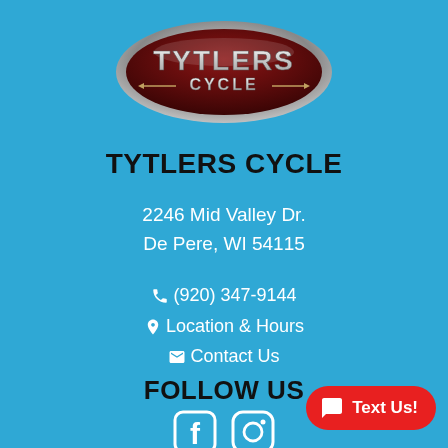[Figure (logo): Tytlers Cycle oval logo with metallic silver border, dark red/maroon background, 'TYTLERS' in bold chrome letters on top and 'CYCLE' with wing decorations below]
TYTLERS CYCLE
2246 Mid Valley Dr.
De Pere, WI 54115
(920) 347-9144
Location & Hours
Contact Us
FOLLOW US
[Figure (illustration): Facebook and Instagram social media icons in white outline style]
Text Us!